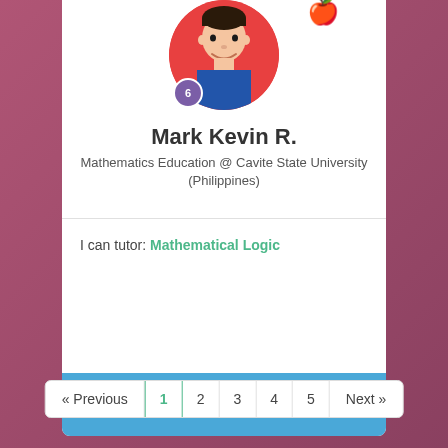[Figure (photo): Profile photo of Mark Kevin R., a young man smiling against a red circular background, with a purple level badge (6) and a yellow apple icon]
Mark Kevin R.
Mathematics Education @ Cavite State University (Philippines)
I can tutor: Mathematical Logic
Start Now
« Previous  1  2  3  4  5  Next »